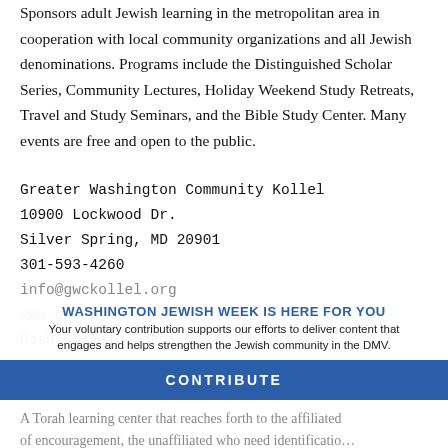Sponsors adult Jewish learning in the metropolitan area in cooperation with local community organizations and all Jewish denominations. Programs include the Distinguished Scholar Series, Community Lectures, Holiday Weekend Study Retreats, Travel and Study Seminars, and the Bible Study Center. Many events are free and open to the public.
Greater Washington Community Kollel
10900 Lockwood Dr.
Silver Spring, MD 20901
301-593-4260
info@gwckollel.org
www.gwckollel.org
Rosh Kollel: Rabbi Menachem Winter
WASHINGTON JEWISH WEEK IS HERE FOR YOU
Your voluntary contribution supports our efforts to deliver content that engages and helps strengthen the Jewish community in the DMV.
CONTRIBUTE
A Torah learning center that reaches forth to the affiliated of encouragement, the unaffiliated who need identificatio...